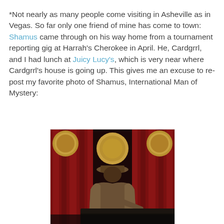*Not nearly as many people come visiting in Asheville as in Vegas. So far only one friend of mine has come to town: Shamus came through on his way home from a tournament reporting gig at Harrah's Cherokee in April. He, Cardgrrl, and I had lunch at Juicy Lucy's, which is very near where Cardgrrl's house is going up. This gives me an excuse to re-post my favorite photo of Shamus, International Man of Mystery:
[Figure (photo): Dark photo of a man from behind wearing a hat and coat, standing in front of red curtains with large circular decorations, in what appears to be a casino or club setting.]